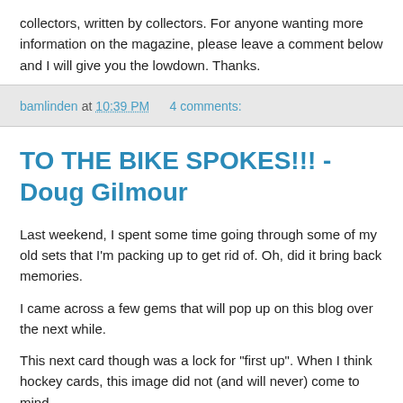collectors, written by collectors. For anyone wanting more information on the magazine, please leave a comment below and I will give you the lowdown. Thanks.
bamlinden at 10:39 PM   4 comments:
TO THE BIKE SPOKES!!! - Doug Gilmour
Last weekend, I spent some time going through some of my old sets that I'm packing up to get rid of. Oh, did it bring back memories.
I came across a few gems that will pop up on this blog over the next while.
This next card though was a lock for "first up". When I think hockey cards, this image did not (and will never) come to mind.